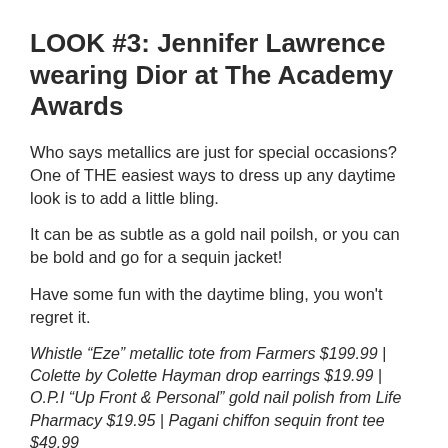LOOK #3: Jennifer Lawrence wearing Dior at The Academy Awards
Who says metallics are just for special occasions? One of THE easiest ways to dress up any daytime look is to add a little bling.
It can be as subtle as a gold nail poilsh, or you can be bold and go for a sequin jacket!
Have some fun with the daytime bling, you won't regret it.
Whistle “Eze” metallic tote from Farmers $199.99 | Colette by Colette Hayman drop earrings $19.99 | O.P.I “Up Front & Personal” gold nail polish from Life Pharmacy $19.95 | Pagani chiffon sequin front tee $49.99
So even though sometimes we don’t feel like we can relate